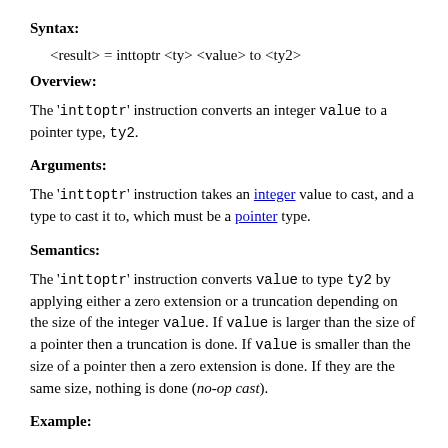Syntax:
<result> = inttoptr <ty> <value> to <ty2>
Overview:
The 'inttoptr' instruction converts an integer value to a pointer type, ty2.
Arguments:
The 'inttoptr' instruction takes an integer value to cast, and a type to cast it to, which must be a pointer type.
Semantics:
The 'inttoptr' instruction converts value to type ty2 by applying either a zero extension or a truncation depending on the size of the integer value. If value is larger than the size of a pointer then a truncation is done. If value is smaller than the size of a pointer then a zero extension is done. If they are the same size, nothing is done (no-op cast).
Example: